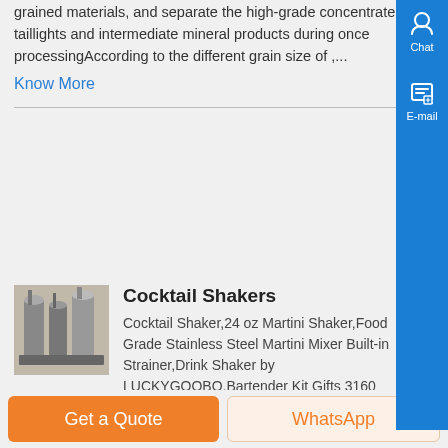grained materials, and separate the high-grade concentrate, taillights and intermediate mineral products during once processingAccording to the different grain size of ,...
Know More
[Figure (photo): Industrial machinery photo showing equipment for mineral processing]
Cocktail Shakers
Cocktail Shaker,24 oz Martini Shaker,Food Grade Stainless Steel Martini Mixer Built-in Strainer,Drink Shaker by LUCKYGOOBO,Bartender Kit Gifts 3160 price 9 79 1399 30 off Knock 1 Back Cocktail Shaker Premier Stainless Steel Cobbler...
Know More
Get a Quote
WhatsApp